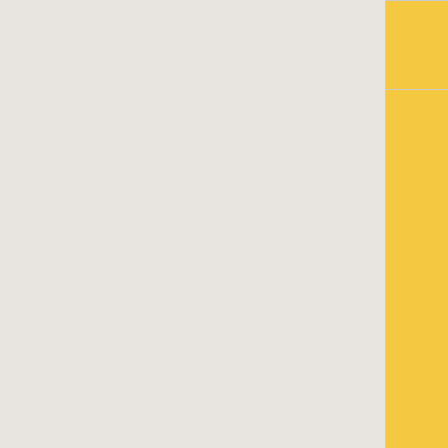| Item | Description | Properties |
| --- | --- | --- |
| de Invierno 2020 |  | Com...
Alea...
Caja... |
| Llave de la Caja de Pintura de Guerra de Invierno 2020 | A key used to open a Winter 2020 War Paint Case. | Com...
Alea...
Caja... |
| Llave de Caja de Cosméticos de Verano 2021 | A key used to open a Summer 2021 Cosmetic Case. | Com...
Alea...
Caja... |
| Llave del Alijo... | A key used to open a Crimson Cache Case. | Com...
Alea...
Caja... |